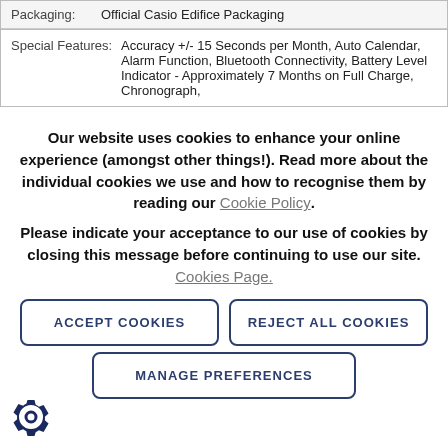| Packaging: | Official Casio Edifice Packaging |
| Special Features: | Accuracy +/- 15 Seconds per Month, Auto Calendar, Alarm Function, Bluetooth Connectivity, Battery Level Indicator - Approximately 7 Months on Full Charge, Chronograph, |
Our website uses cookies to enhance your online experience (amongst other things!). Read more about the individual cookies we use and how to recognise them by reading our Cookie Policy.
Please indicate your acceptance to our use of cookies by closing this message before continuing to use our site. Cookies Page.
ACCEPT COOKIES
REJECT ALL COOKIES
MANAGE PREFERENCES